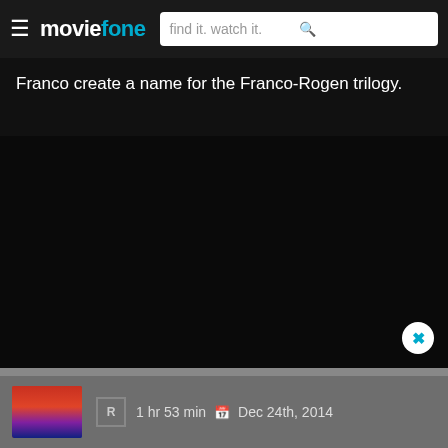≡ moviefone   find it. watch it.
Franco create a name for the Franco-Rogen trilogy.
[Figure (other): Large black area, likely a video player or dark content area with a close/dismiss button (X) in the bottom right corner]
R   1 hr 53 min  📅 Dec 24th, 2014